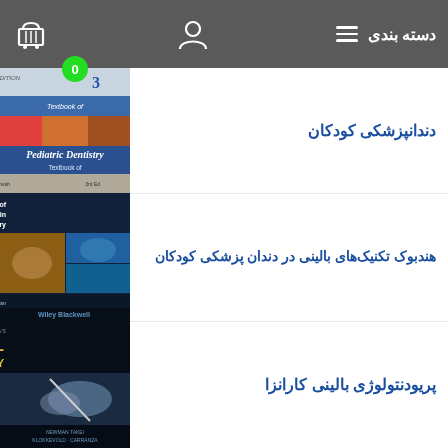دسته بندی
0
دندانپزشکی کودکان
[Figure (photo): Book cover: Textbook of Pediatric Dentistry, Third Edition]
هندبوک تکنیک‌های بالینی در دندان پزشکی کودکان
[Figure (photo): Book cover: Handbook of Clinical Techniques in Pediatric Dentistry, edited by Jane A. Soxman, Wiley Blackwell]
پریودنتولوژی بالینی کارانزا
[Figure (photo): Book cover: Newman and Carranza's Clinical Periodontology, Thirteenth Edition, by Newman, Takei, Klokkevold, Carranza]